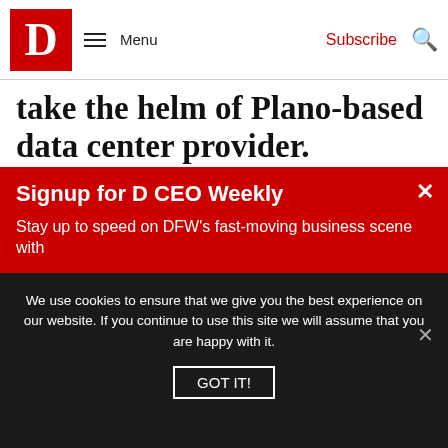D | Menu | Subscribe
take the helm of Plano-based data center provider.
Growth Under his leadership, Aligned significantly increased sales, attracted investors in a very competitive market and added regional and global companies as clients.
Signup for D CEO Weekly
Stay up to speed on DFW's fast-moving business scene with
We use cookies to ensure that we give you the best experience on our website. If you continue to use this site we will assume that you are happy with it.
GOT IT!